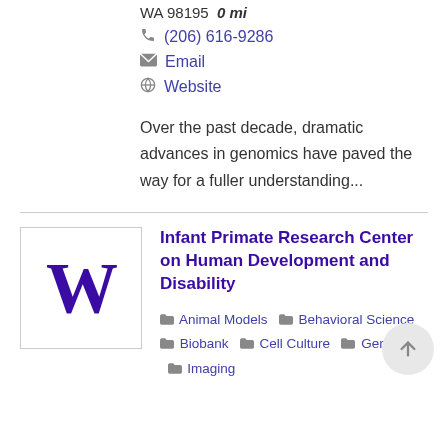WA 98195  0 mi
(206) 616-9286
Email
Website
Over the past decade, dramatic advances in genomics have paved the way for a fuller understanding...
Infant Primate Research Center on Human Development and Disability
Animal Models  Behavioral Science  Biobank  Cell Culture  Genomics  Imaging